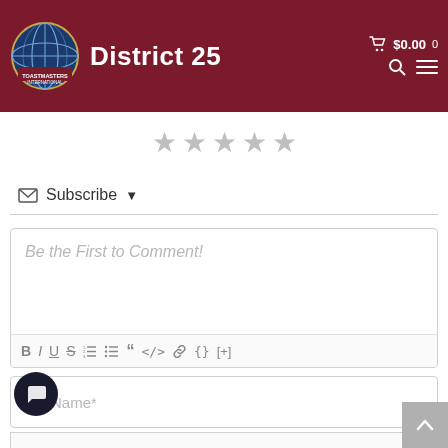Toastmasters International - District 25
[Figure (other): Five gray star rating icons in a row]
Subscribe ▼
[Figure (screenshot): Comment text editor box with placeholder text 'Be the First to Comment!' and formatting toolbar with Bold, Italic, Underline, Strikethrough, ordered list, unordered list, blockquote, code, link, {} and [+] buttons]
[Figure (screenshot): Name* input field with person icon]
[Figure (screenshot): Email* input field with @ icon]